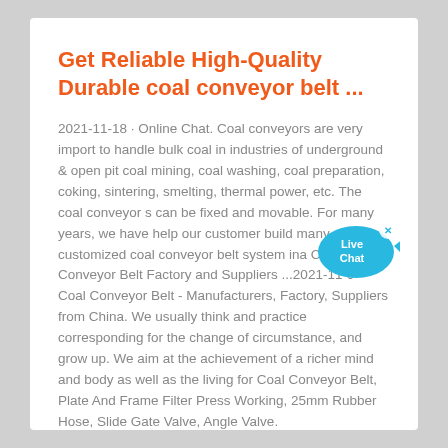Get Reliable High-Quality Durable coal conveyor belt ...
2021-11-18 · Online Chat. Coal conveyors are very import to handle bulk coal in industries of underground & open pit coal mining, coal washing, coal preparation, coking, sintering, smelting, thermal power, etc. The coal conveyor s can be fixed and movable. For many years, we have help our customer build many customized coal conveyor belt system ina Coal Conveyor Belt Factory and Suppliers ...2021-11-9 · Coal Conveyor Belt - Manufacturers, Factory, Suppliers from China. We usually think and practice corresponding for the change of circumstance, and grow up. We aim at the achievement of a richer mind and body as well as the living for Coal Conveyor Belt, Plate And Frame Filter Press Working, 25mm Rubber Hose, Slide Gate Valve, Angle Valve.
[Figure (other): Live Chat button widget — a blue speech bubble with a fish shape containing the text 'Live Chat' and a close (x) button.]
Get Quote